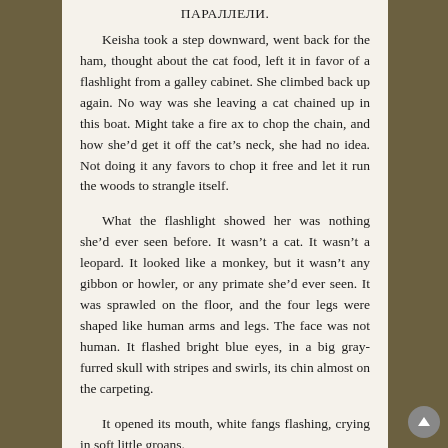ПАРАЛЛЕЛИ.
Keisha took a step downward, went back for the ham, thought about the cat food, left it in favor of a flashlight from a galley cabinet. She climbed back up again. No way was she leaving a cat chained up in this boat. Might take a fire ax to chop the chain, and how she'd get it off the cat's neck, she had no idea. Not doing it any favors to chop it free and let it run the woods to strangle itself.
What the flashlight showed her was nothing she'd ever seen before. It wasn't a cat. It wasn't a leopard. It looked like a monkey, but it wasn't any gibbon or howler, or any primate she'd ever seen. It was sprawled on the floor, and the four legs were shaped like human arms and legs. The face was not human. It flashed bright blue eyes, in a big gray-furred skull with stripes and swirls, its chin almost on the carpeting.
It opened its mouth, white fangs flashing, crying in soft little groans.
Keisha flipped the light out of its eyes, splashed